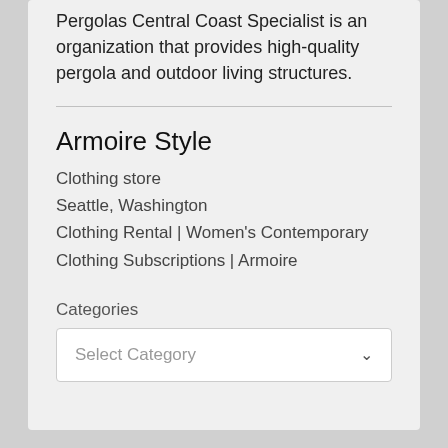Pergolas Central Coast Specialist is an organization that provides high-quality pergola and outdoor living structures.
Armoire Style
Clothing store
Seattle, Washington
Clothing Rental | Women's Contemporary Clothing Subscriptions | Armoire
Categories
Select Category